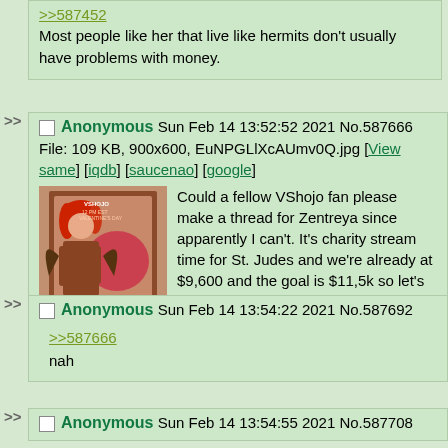>>587452
Most people like her that live like hermits don't usually have problems with money.
Anonymous Sun Feb 14 13:52:52 2021 No.587666
File: 109 KB, 900x600, EuNPGLlXcAUmv0Q.jpg [View same] [iqdb] [saucenao] [google]
Could a fellow VShojo fan please make a thread for Zentreya since apparently I can't. It's charity stream time for St. Judes and we're already at $9,600 and the goal is $11,5k so let's smash this bitch with vtuber love!
Anonymous Sun Feb 14 13:54:22 2021 No.587692
>>587666
nah
Anonymous Sun Feb 14 13:54:55 2021 No.587708